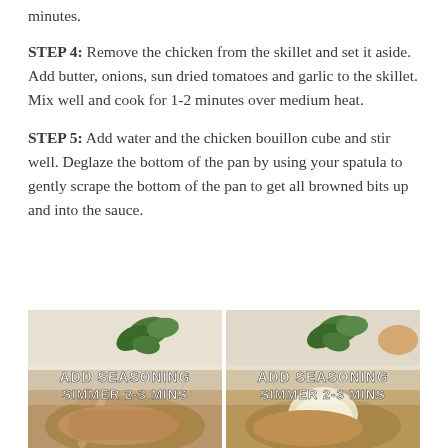minutes.
STEP 4: Remove the chicken from the skillet and set it aside. Add butter, onions, sun dried tomatoes and garlic to the skillet. Mix well and cook for 1-2 minutes over medium heat.
STEP 5: Add water and the chicken bouillon cube and stir well. Deglaze the bottom of the pan by using your spatula to gently scrape the bottom of the pan to get all browned bits up and into the sauce.
[Figure (photo): Two side-by-side cooking photos showing a skillet with ingredients. Both panels have text overlay reading 'ADD SEASONING SIMMER 2-3 MINS'. Left panel shows wooden spoon stirring, right panel shows cream/cheese being added.]